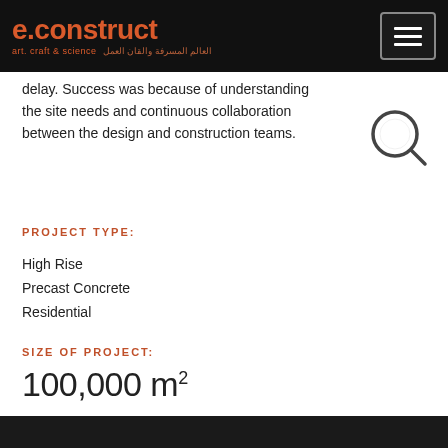e.construct | art. craft & science
delay. Success was because of understanding the site needs and continuous collaboration between the design and construction teams.
PROJECT TYPE:
High Rise
Precast Concrete
Residential
SIZE OF PROJECT:
100,000 m²
YEAR OF COMPLETION:
2006